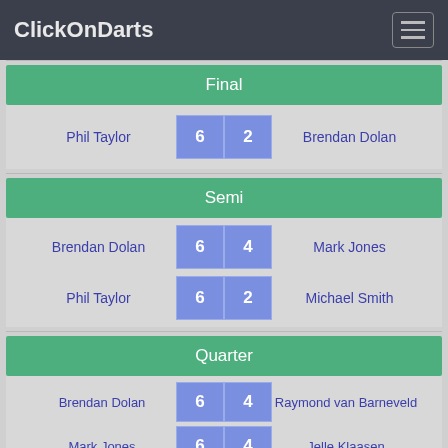ClickOnDarts
Final
| Player 1 | Score 1 | Score 2 | Player 2 |
| --- | --- | --- | --- |
| Phil Taylor | 6 | 2 | Brendan Dolan |
Semi
| Player 1 | Score 1 | Score 2 | Player 2 |
| --- | --- | --- | --- |
| Brendan Dolan | 6 | 4 | Mark Jones |
| Phil Taylor | 6 | 2 | Michael Smith |
Quarter
| Player 1 | Score 1 | Score 2 | Player 2 |
| --- | --- | --- | --- |
| Brendan Dolan | 6 | 4 | Raymond van Barneveld |
| Mark Jones | 6 | 4 | Jelle Klaasen |
| Michael Smith | 6 | 5 | Andy Smith |
| Phil Taylor | 6 | 5 | Colin Lloyd |